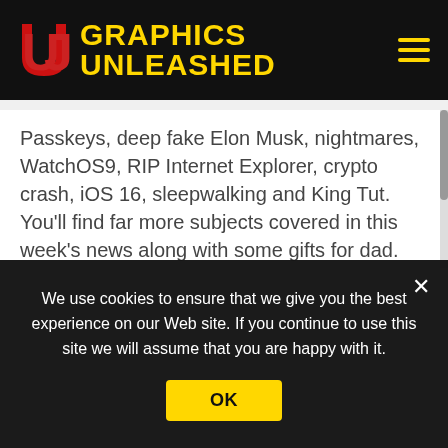GRAPHICS UNLEASHED
Passkeys, deep fake Elon Musk, nightmares, WatchOS9, RIP Internet Explorer, crypto crash, iOS 16, sleepwalking and King Tut. You'll find far more subjects covered in this week's news along with some gifts for dad. Check out all of the headlines below and click to get the full story.
Read this post on the Graphics Unleashed Web site!
We use cookies to ensure that we give you the best experience on our Web site. If you continue to use this site we will assume that you are happy with it.